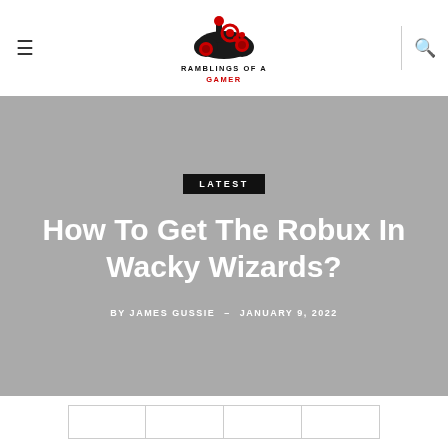[Figure (logo): Gaming controller logo for 'Ramblings of a Gamer' website with text below reading RAMBLINGS OF A GAMER]
RAMBLINGS OF A GAMER
LATEST
How To Get The Robux In Wacky Wizards?
BY JAMES GUSSIE – JANUARY 9, 2022